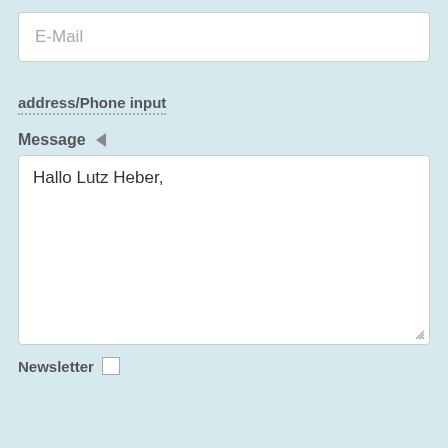E-Mail
address/Phone input
Message
Hallo Lutz Heber,
Newsletter